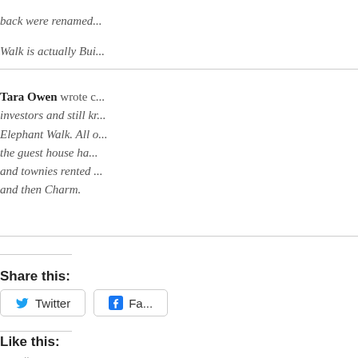back were renamed... Walk is actually Bui...
Tara Owen wrote c... investors and still kr... Elephant Walk. All o... the guest house ha... and townies rented ... and then Charm.
Share this:
Twitter  Fa...
Like this:
Loading...